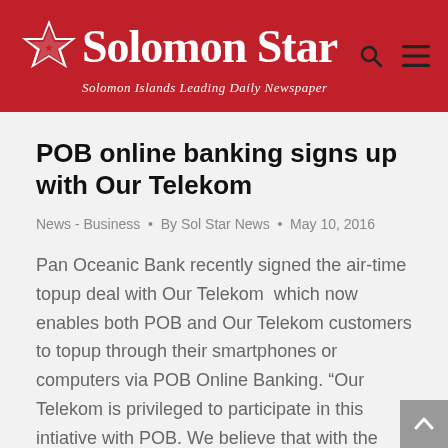Solomon Star — Solomon Islands Leading Daily Newspaper
POB online banking signs up with Our Telekom
News - Business • By Sol Star News • May 10, 2016
Pan Oceanic Bank recently signed the air-time topup deal with Our Telekom  which now enables both POB and Our Telekom customers to topup through their smartphones or computers via POB Online Banking. "Our Telekom is privileged to participate in this intiative with POB. We believe that with the change in mobile phone technology with increasing...